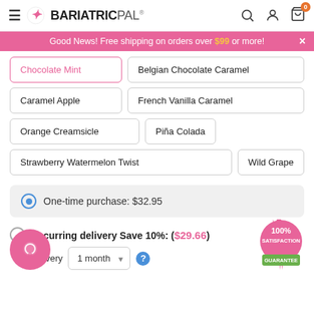BariatricPal
Good News! Free shipping on orders over $99 or more!
Chocolate Mint
Belgian Chocolate Caramel
Caramel Apple
French Vanilla Caramel
Orange Creamsicle
Piña Colada
Strawberry Watermelon Twist
Wild Grape
One-time purchase: $32.95
Recurring delivery Save 10%: ($29.66)
ver every  1 month
[Figure (logo): 100% Satisfaction Guarantee badge - pink and green circular badge]